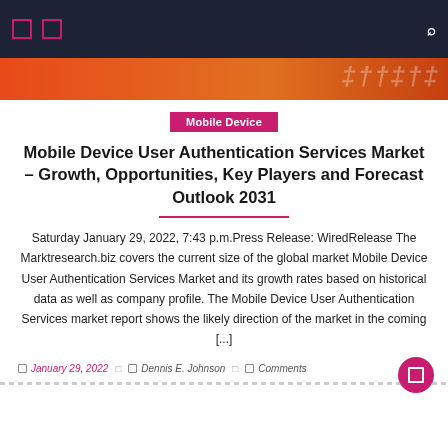Navigation bar with icons and search
[Figure (other): Orange banner with stylized text watermark]
Mobile Device
Mobile Device User Authentication Services Market – Growth, Opportunities, Key Players and Forecast Outlook 2031
Saturday January 29, 2022, 7:43 p.m.Press Release: WiredRelease The Marktresearch.biz covers the current size of the global market Mobile Device User Authentication Services Market and its growth rates based on historical data as well as company profile. The Mobile Device User Authentication Services market report shows the likely direction of the market in the coming [...]
January 29, 2022  Dennis E. Johnson  Comments